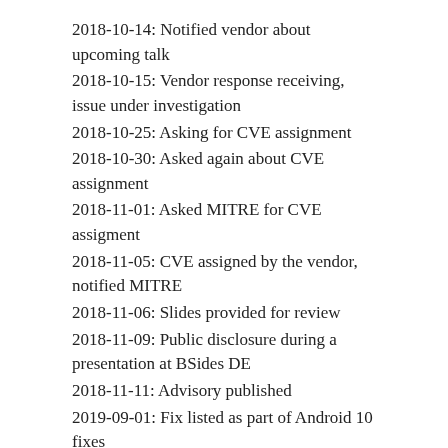2018-10-14: Notified vendor about upcoming talk
2018-10-15: Vendor response receiving, issue under investigation
2018-10-25: Asking for CVE assignment
2018-10-30: Asked again about CVE assignment
2018-11-01: Asked MITRE for CVE assigment
2018-11-05: CVE assigned by the vendor, notified MITRE
2018-11-06: Slides provided for review
2018-11-09: Public disclosure during a presentation at BSides DE
2018-11-11: Advisory published
2019-09-01: Fix listed as part of Android 10 fixes
Share this: